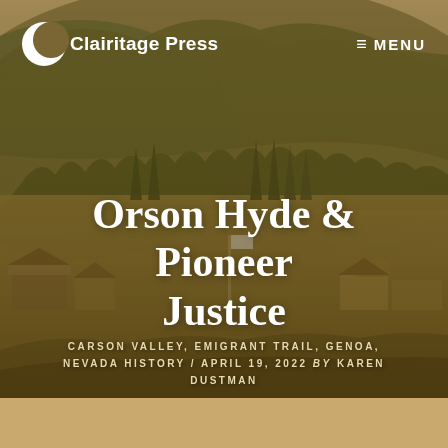Clairitage Press   MENU
[Figure (illustration): Sepia-toned historical illustration of a pioneer valley settlement with log cabins, tall trees, a flag, forested hills in the background, and horseback riders in the foreground. Resembles a 19th century artistic rendering of Genoa, Nevada or Carson Valley.]
Orson Hyde & Pioneer Justice
CARSON VALLEY, EMIGRANT TRAIL, GENOA, NEVADA HISTORY / APRIL 19, 2022 by KAREN DUSTMAN